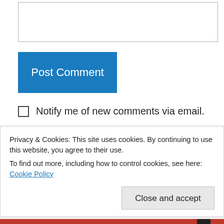[Figure (screenshot): Textarea input box (empty, with border)]
Post Comment
Notify me of new comments via email.
Notify me of new posts via email.
Pingback: Going Gluten-Free: Is the Hype Legit? Diana Ghazzawi of 'Free Kitchen' Shares Her Experience | My
Privacy & Cookies: This site uses cookies. By continuing to use this website, you agree to their use. To find out more, including how to control cookies, see here: Cookie Policy
Close and accept